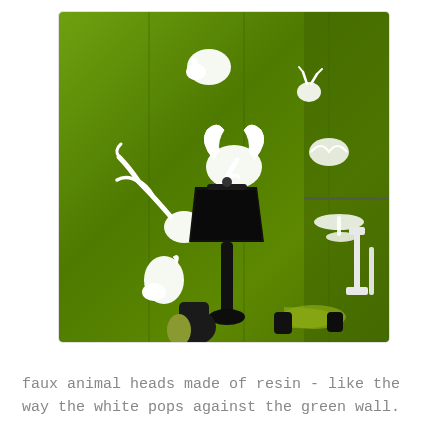[Figure (photo): A bright green wall with multiple white faux animal heads made of resin mounted on it, including deer antlers, a ram, a rhinoceros, a horse, and other animals. In the foreground is a black table lamp with a large black cylindrical shade, and to the right are white decorative sculptures on a shelf. Various other decorative objects are visible on a surface at the bottom.]
faux animal heads made of resin - like the way the white pops against the green wall.